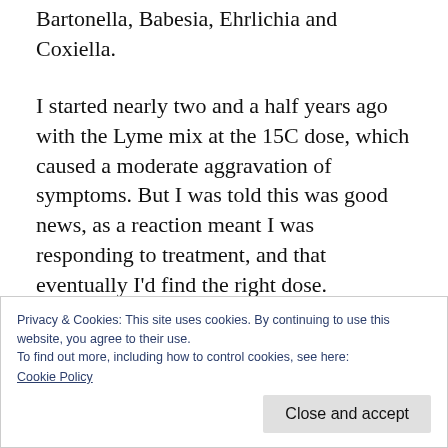Bartonella, Babesia, Ehrlichia and Coxiella.
I started nearly two and a half years ago with the Lyme mix at the 15C dose, which caused a moderate aggravation of symptoms. But I was told this was good news, as a reaction meant I was responding to treatment, and that eventually I'd find the right dose.
One of the difficult things about LDI is if you have a symptom aggravation, known as a flare,
Privacy & Cookies: This site uses cookies. By continuing to use this website, you agree to their use.
To find out more, including how to control cookies, see here:
Cookie Policy
Close and accept